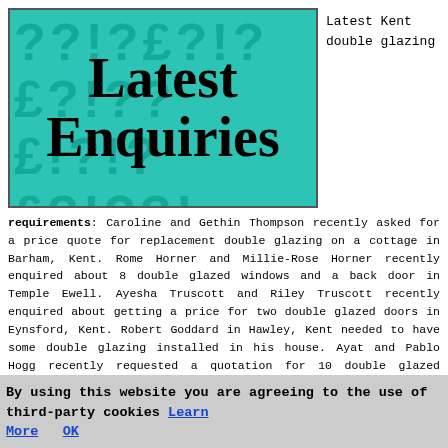[Figure (illustration): Teal/turquoise banner image with question mark watermarks in background and bold black text reading 'Latest Enquiries' centered on it]
Latest Kent double glazing
requirements: Caroline and Gethin Thompson recently asked for a price quote for replacement double glazing on a cottage in Barham, Kent. Rome Horner and Millie-Rose Horner recently enquired about 8 double glazed windows and a back door in Temple Ewell. Ayesha Truscott and Riley Truscott recently enquired about getting a price for two double glazed doors in Eynsford, Kent. Robert Goddard in Hawley, Kent needed to have some double glazing installed in his house. Ayat and Pablo Hogg recently requested a quotation for 10 double glazed windows and a door on a property in
By using this website you are agreeing to the use of third-party cookies Learn More  OK